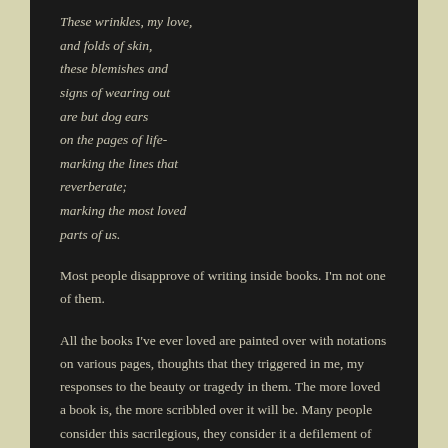These wrinkles, my love,
and folds of skin,
these blemishes and
signs of wearing out
are but dog ears
on the pages of life-
marking the lines that
reverberate;
marking the most loved
parts of us.
Most people disapprove of writing inside books. I'm not one of them.
All the books I've ever loved are painted over with notations on various pages, thoughts that they triggered in me, my responses to the beauty or tragedy in them. The more loved a book is, the more scribbled over it will be. Many people consider this sacrilegious, they consider it a defilement of the sacred. For me, though, these are marks of love. Passionate love, if I may say so.